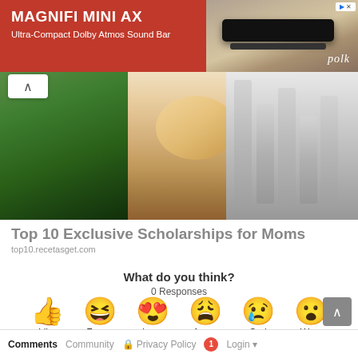[Figure (photo): Advertisement banner for Magnifi Mini AX Ultra-Compact Dolby Atmos Sound Bar by Polk, red background with product image]
[Figure (photo): Composite article image showing piggy bank with coins stacked on right side, gradient green on left]
Top 10 Exclusive Scholarships for Moms
top10.recetasget.com
What do you think?
0 Responses
[Figure (infographic): Emoji reaction row: thumbs up (Like), laughing face (Funny), heart eyes (Love), angry/crying face (Angry), sad face (Sad), surprised face (Wow)]
Comments  Community  Privacy Policy  1  Login